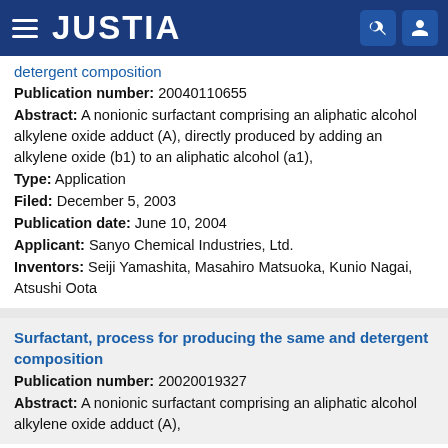JUSTIA
detergent composition
Publication number: 20040110655
Abstract: A nonionic surfactant comprising an aliphatic alcohol alkylene oxide adduct (A), directly produced by adding an alkylene oxide (b1) to an aliphatic alcohol (a1),
Type: Application
Filed: December 5, 2003
Publication date: June 10, 2004
Applicant: Sanyo Chemical Industries, Ltd.
Inventors: Seiji Yamashita, Masahiro Matsuoka, Kunio Nagai, Atsushi Oota
Surfactant, process for producing the same and detergent composition
Publication number: 20020019327
Abstract: A nonionic surfactant comprising an aliphatic alcohol alkylene oxide adduct (A),